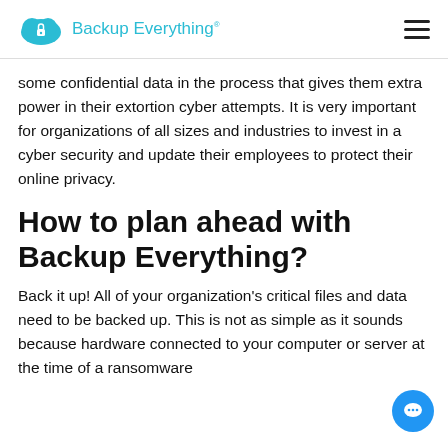Backup Everything
some confidential data in the process that gives them extra power in their extortion cyber attempts. It is very important for organizations of all sizes and industries to invest in a cyber security and update their employees to protect their online privacy.
How to plan ahead with Backup Everything?
Back it up! All of your organization's critical files and data need to be backed up. This is not as simple as it sounds because hardware connected to your computer or server at the time of a ransomware